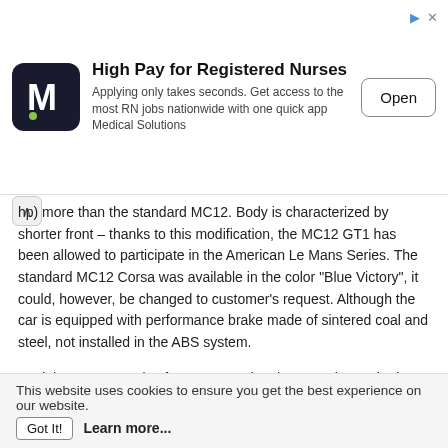[Figure (other): Advertisement banner for Medical Solutions nursing jobs app. Shows a large M logo, the headline 'High Pay for Registered Nurses', body text 'Applying only takes seconds. Get access to the most RN jobs nationwide with one quick app Medical Solutions', and an 'Open' button.]
hp) more than the standard MC12. Body is characterized by shorter front – thanks to this modification, the MC12 GT1 has been allowed to participate in the American Le Mans Series. The standard MC12 Corsa was available in the color "Blue Victory", it could, however, be changed to customer's request. Although the car is equipped with performance brake made of sintered coal and steel, not installed in the ABS system.
Model MC12 Corsa is often compared to the Ferrari FXX, both cars are based on racing vehicles, but did not receive the approval of committing to move on public roads shall be kept by the manufacturer and can guide them only on selected days. Ferrari FXX is also used to test new technologies, while MC12 Corsa only for racing.
This website uses cookies to ensure you get the best experience on our website.  Got It!  Learn more...